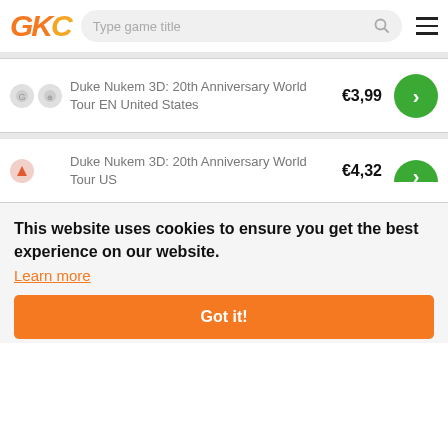GKC — Type game title
Duke Nukem 3D: 20th Anniversary World Tour EN United States — €3,99
Duke Nukem 3D: 20th Anniversary World Tour US — €4,32
This website uses cookies to ensure you get the best experience on our website.
Learn more
Got it!